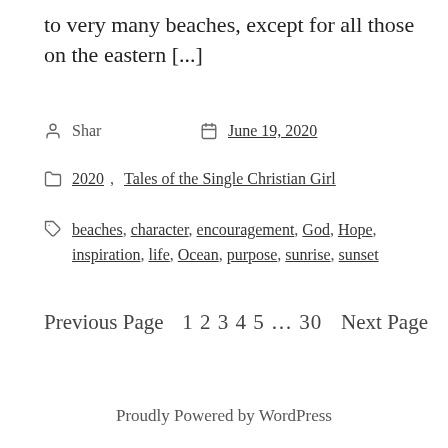to very many beaches, except for all those on the eastern [...]
Shar   June 19, 2020
2020, Tales of the Single Christian Girl
beaches, character, encouragement, God, Hope, inspiration, life, Ocean, purpose, sunrise, sunset
Previous Page   1 2 3 4 5 … 30   Next Page
Proudly Powered by WordPress